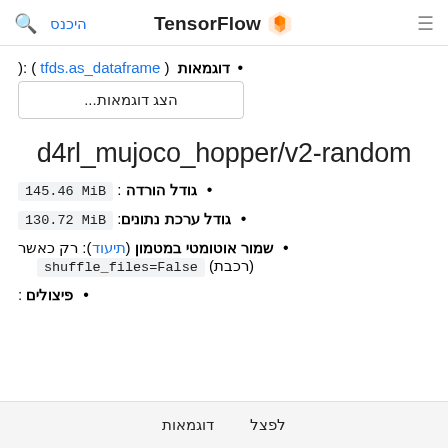היכנס | Search | TensorFlow logo | menu
דוגמאות: (tfds.as_dataframe):
הצג דוגמאות...
d4rl_mujoco_hopper/v2-random
גודל הורדה: 145.46 MiB
גודל ערכת נתונים: 130.72 MiB
שמור אוטומטי במטמון (תיעוד): רק כאשר (רכבת) shuffle_files=False
פיצולים:
לפצל  דוגמאות